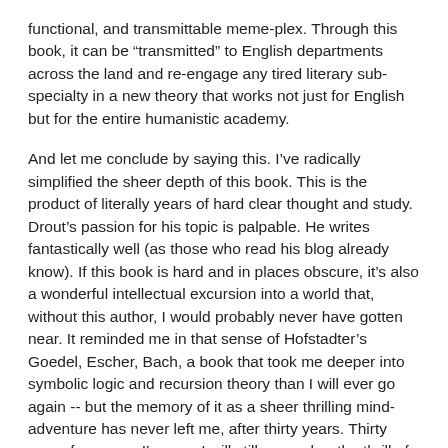functional, and transmittable meme-plex. Through this book, it can be “transmitted” to English departments across the land and re-engage any tired literary sub-specialty in a new theory that works not just for English but for the entire humanistic academy.
And let me conclude by saying this. I’ve radically simplified the sheer depth of this book. This is the product of literally years of hard clear thought and study. Drout’s passion for his topic is palpable. He writes fantastically well (as those who read his blog already know). If this book is hard and in places obscure, it’s also a wonderful intellectual excursion into a world that, without this author, I would probably never have gotten near. It reminded me in that sense of Hofstadter’s Goedel, Escher, Bach, a book that took me deeper into symbolic logic and recursion theory than I will ever go again -- but the memory of it as a sheer thrilling mind-adventure has never left me, after thirty years. Thirty years from now, I’m sure I will still remember the thrill of reading and understanding How Tradition Works.